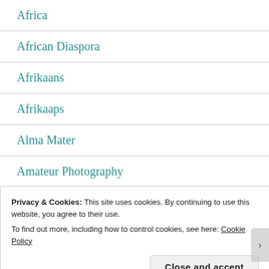Africa
African Diaspora
Afrikaans
Afrikaaps
Alma Mater
Amateur Photography
Amazon
Privacy & Cookies: This site uses cookies. By continuing to use this website, you agree to their use.
To find out more, including how to control cookies, see here: Cookie Policy
Close and accept